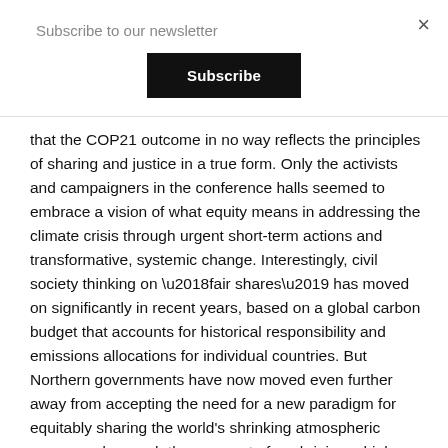Subscribe to our newsletter
Subscribe
that the COP21 outcome in no way reflects the principles of sharing and justice in a true form. Only the activists and campaigners in the conference halls seemed to embrace a vision of what equity means in addressing the climate crisis through urgent short-term actions and transformative, systemic change. Interestingly, civil society thinking on ‘fair shares’ has moved on significantly in recent years, based on a global carbon budget that accounts for historical responsibility and emissions allocations for individual countries. But Northern governments have now moved even further away from accepting the need for a new paradigm for equitably sharing the world’s shrinking atmospheric space, and as such the prospect of enshrining a high-ambition carbon budget into a legally binding climate treaty is, alas, still a dream.